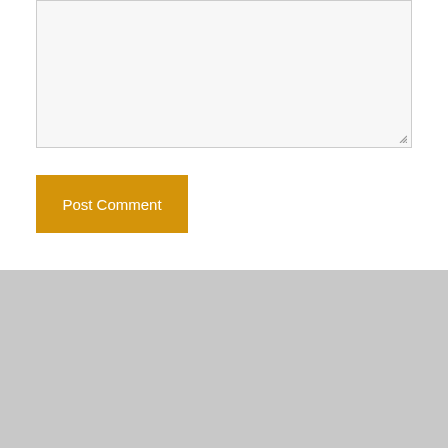[Figure (screenshot): A textarea input box with light gray background and a resize handle in the bottom-right corner]
Post Comment
Social Media
Check out all of our social feeds
Contact Us